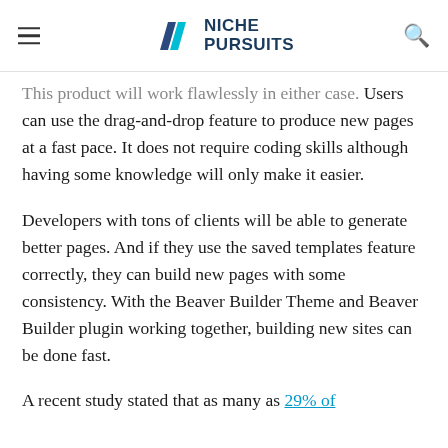NICHE PURSUITS
This product will work flawlessly in either case. Users can use the drag-and-drop feature to produce new pages at a fast pace. It does not require coding skills although having some knowledge will only make it easier.
Developers with tons of clients will be able to generate better pages. And if they use the saved templates feature correctly, they can build new pages with some consistency. With the Beaver Builder Theme and Beaver Builder plugin working together, building new sites can be done fast.
A recent study stated that as many as 29% of…